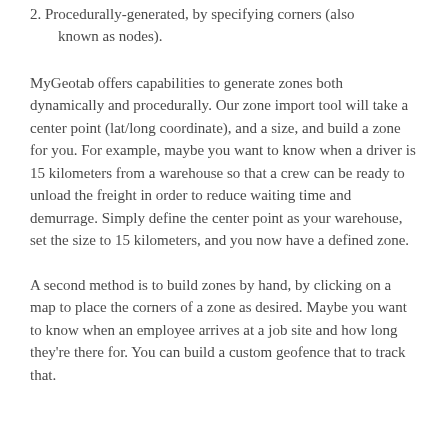2. Procedurally-generated, by specifying corners (also known as nodes).
MyGeotab offers capabilities to generate zones both dynamically and procedurally. Our zone import tool will take a center point (lat/long coordinate), and a size, and build a zone for you. For example, maybe you want to know when a driver is 15 kilometers from a warehouse so that a crew can be ready to unload the freight in order to reduce waiting time and demurrage. Simply define the center point as your warehouse, set the size to 15 kilometers, and you now have a defined zone.
A second method is to build zones by hand, by clicking on a map to place the corners of a zone as desired. Maybe you want to know when an employee arrives at a job site and how long they're there for. You can build a custom geofence that to track that.